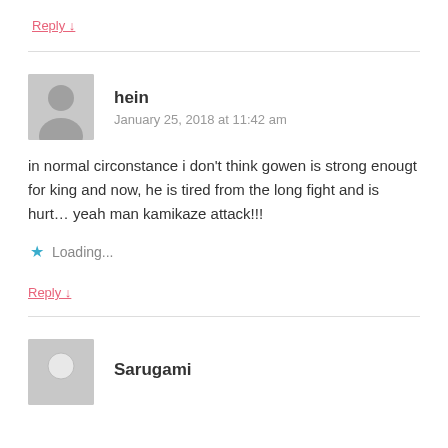Reply ↓
hein
January 25, 2018 at 11:42 am
in normal circonstance i don't think gowen is strong enougt for king and now, he is tired from the long fight and is hurt… yeah man kamikaze attack!!!
Loading...
Reply ↓
Sarugami